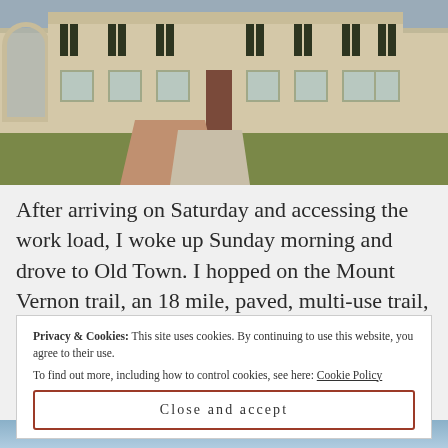[Figure (photo): Photograph of a historic colonial-style building with dark shutters, a central door, brick pathway, and green lawn. An arched gate is visible on the left.]
After arriving on Saturday and accessing the work load, I woke up Sunday morning and drove to Old Town. I hopped on the Mount Vernon trail, an 18 mile, paved, multi-use trail,
Privacy & Cookies: This site uses cookies. By continuing to use this website, you agree to their use.
To find out more, including how to control cookies, see here: Cookie Policy
Close and accept
[Figure (photo): Partial view of another photograph at the bottom of the page, showing a light blue sky or water scene.]